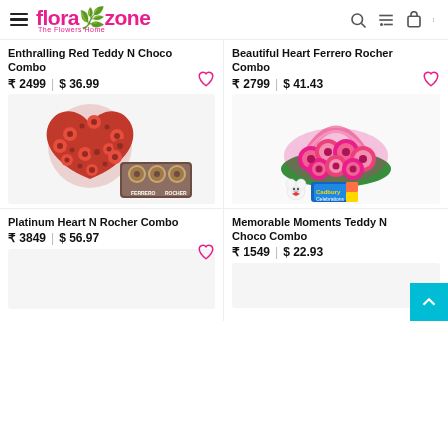florazone — The Flowers Home
Enthralling Red Teddy N Choco Combo
₹ 2499 | $ 36.99
[Figure (photo): Heart-shaped arrangement of red roses with a box of Ferrero Rocher chocolates]
Beautiful Heart Ferrero Rocher Combo
₹ 2799 | $ 41.43
[Figure (photo): Pink carnation basket arrangement with a small white teddy bear and a Cadbury chocolate box]
Platinum Heart N Rocher Combo
₹ 3849 | $ 56.97
Memorable Moments Teddy N Choco Combo
₹ 1549 | $ 22.93